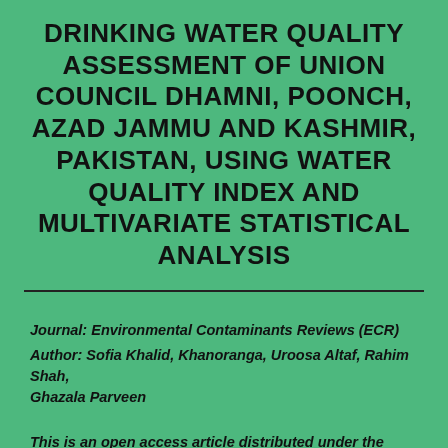DRINKING WATER QUALITY ASSESSMENT OF UNION COUNCIL DHAMNI, POONCH, AZAD JAMMU AND KASHMIR, PAKISTAN, USING WATER QUALITY INDEX AND MULTIVARIATE STATISTICAL ANALYSIS
Journal: Environmental Contaminants Reviews (ECR)
Author: Sofia Khalid, Khanoranga, Uroosa Altaf, Rahim Shah, Ghazala Parveen
This is an open access article distributed under the Creative